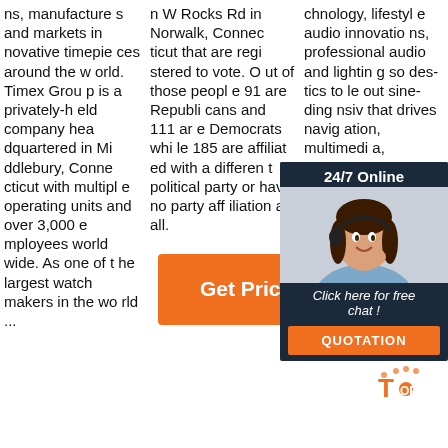ns, manufactures and markets innovative timepieces around the world. Timex Group is a privately-held company headquartered in Middlebury, Connecticut with multiple operating units and over 3,000 employees worldwide. As one of the largest watchmakers in the world ...
n W Rocks Rd in Norwalk, Connecticut that are registered to vote. Out of those people 91 are Republicans and 111 are Democrats while 185 are affiliated with a different political party or have no party affiliation at all.
[Figure (other): Orange 'Get Price' button]
chnology, lifestyle audio innovations, professional audio and lighting solutions designed to lead outstanding since, providing comprehensive that drives navigation, multimedia, telematics, connectivity, safety, & security ...
[Figure (other): 24/7 Online chat widget with customer service representative photo, 'Click here for free chat!' text, and orange QUOTATION button]